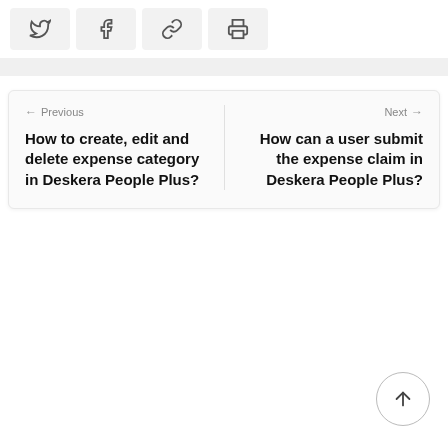[Figure (other): Social share buttons row: Twitter, Facebook, Link/Copy, Print icons on light grey background buttons]
Previous
Next
How to create, edit and delete expense category in Deskera People Plus?
How can a user submit the expense claim in Deskera People Plus?
[Figure (other): Scroll to top button: circle with upward arrow]